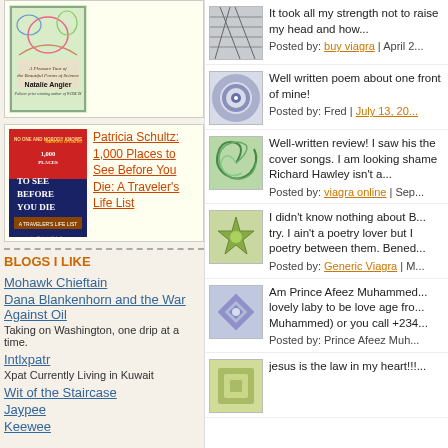[Figure (illustration): Book cover: Natalie Angier, green swirly design]
[Figure (illustration): Book cover: 1,000 Places to See Before You Die]
Patricia Schultz: 1,000 Places to See Before You Die: A Traveler's Life List
BLOGS I LIKE
Mohawk Chieftain
Dana Blankenhorn and the War Against Oil
Taking on Washington, one drip at a time.
Intlxpatr
Xpat Currently Living in Kuwait
Wit of the Staircase
Jaypee
Keewee
It took all my strength not to raise my head and how...
Posted by: buy viagra | April 2...
Well written poem about one front of mine!
Posted by: Fred | July 13, 20...
Well-written review! I saw his the cover songs. I am looking shame Richard Hawley isn't a...
Posted by: viagra online | Sep...
I didn't know nothing about B... try. I ain't a poetry lover but I poetry between them. Bened...
Posted by: Generic Viagra | M...
Am Prince Afeez Muhammed... lovely laby to be love age fro... Muhammed) or you call +234...
Posted by: Prince Afeez Muh...
jesus is the law in my heart!!!...